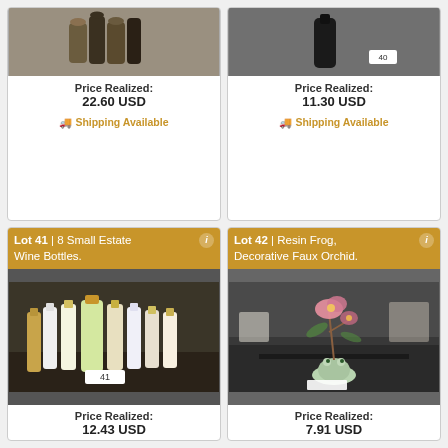[Figure (photo): Auction lot photo showing small bottles/jars on a table]
Price Realized:
22.60 USD
🚚 Shipping Available
[Figure (photo): Auction lot photo showing small dark bottle with lot number 40]
Price Realized:
11.30 USD
🚚 Shipping Available
Lot 41 | 8 Small Estate Wine Bottles.
[Figure (photo): Photo of 8 small estate wine bottles on a table, lot number 41]
Price Realized:
12.43 USD
Lot 42 | Resin Frog, Decorative Faux Orchid.
[Figure (photo): Photo of resin frog with decorative faux orchid arrangement]
Price Realized:
7.91 USD